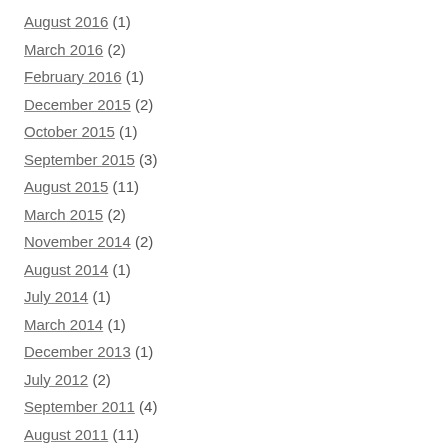August 2016 (1)
March 2016 (2)
February 2016 (1)
December 2015 (2)
October 2015 (1)
September 2015 (3)
August 2015 (11)
March 2015 (2)
November 2014 (2)
August 2014 (1)
July 2014 (1)
March 2014 (1)
December 2013 (1)
July 2012 (2)
September 2011 (4)
August 2011 (11)
July 2011 (3)
June 2011 (6)
May 2011 (8)